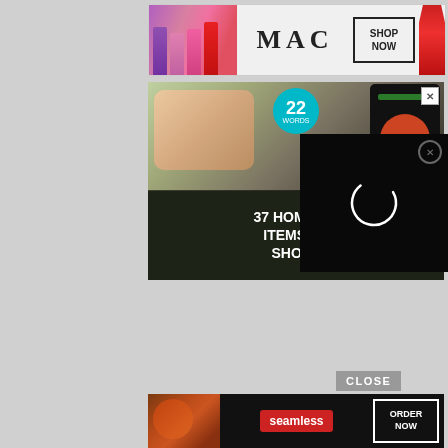[Figure (photo): MAC cosmetics advertisement banner with lipsticks, MAC logo, and SHOP NOW button]
[Figure (photo): 22 Words article ad showing hands using a kitchen appliance with headline '37 HOME AND KITCHEN ITEMS EVERYONE SHOULD...']
[Figure (photo): Black video player overlay with white loading circle and close button]
CLOSE
[Figure (photo): Seamless food delivery advertisement with pizza image, seamless logo, and ORDER NOW button]